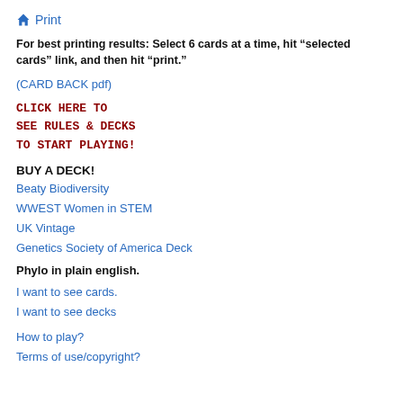Print
For best printing results: Select 6 cards at a time, hit “selected cards” link, and then hit “print.”
(CARD BACK pdf)
CLICK HERE TO SEE RULES & DECKS TO START PLAYING!
BUY A DECK!
Beaty Biodiversity
WWEST Women in STEM
UK Vintage
Genetics Society of America Deck
Phylo in plain english.
I want to see cards.
I want to see decks
How to play?
Terms of use/copyright?